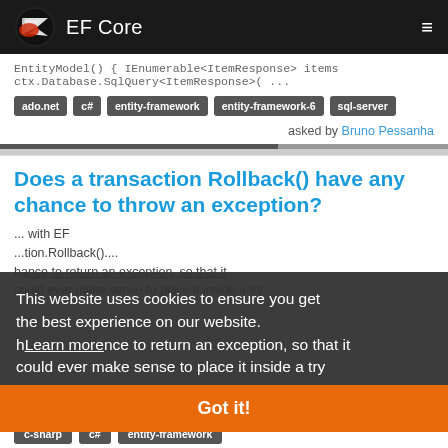EF Core
EntityModel() { IEnumerable<ItemResponse> items ctx.Database.SqlQuery<ItemResponse>( ...
ado.net  c#  entity-framework  entity-framework-6  sql-server
asked by Bruno Pessanha
Does a transaction Rollback() have any chance to throw an exception?
This website uses cookies to ensure you get the best experience on our website. Learn more
Got it!